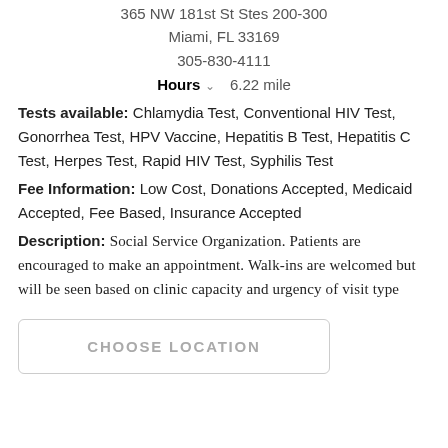365 NW 181st St Stes 200-300
Miami, FL 33169
305-830-4111
Hours  6.22 mile
Tests available: Chlamydia Test, Conventional HIV Test, Gonorrhea Test, HPV Vaccine, Hepatitis B Test, Hepatitis C Test, Herpes Test, Rapid HIV Test, Syphilis Test
Fee Information: Low Cost, Donations Accepted, Medicaid Accepted, Fee Based, Insurance Accepted
Description: Social Service Organization. Patients are encouraged to make an appointment. Walk-ins are welcomed but will be seen based on clinic capacity and urgency of visit type
CHOOSE LOCATION